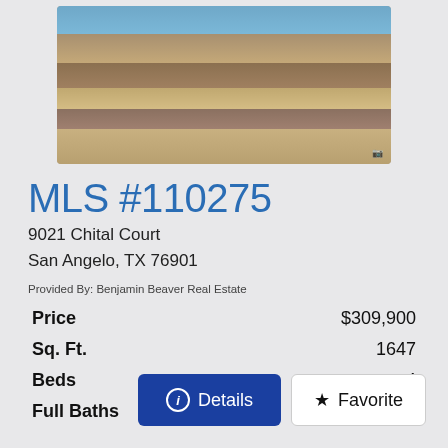[Figure (photo): Construction site photo showing wooden framing structure on a dirt lot with construction materials scattered around]
MLS #110275
9021 Chital Court
San Angelo, TX 76901
Provided By: Benjamin Beaver Real Estate
|  |  |
| --- | --- |
| Price | $309,900 |
| Sq. Ft. | 1647 |
| Beds | 4 |
| Full Baths | 2 |